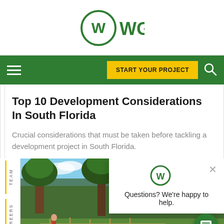[Figure (logo): WGI company logo - green circle with W and WGI text]
[Figure (screenshot): Green navigation bar with hamburger menu, START YOUR PROJECT yellow button, and search icon]
Top 10 Development Considerations In South Florida
Crucial considerations that must be taken before tackling a development project in South Florida.
[Figure (photo): Outdoor photo showing trees, green foliage, and what appears to be a construction or development site with fencing and people]
[Figure (screenshot): WGI chat popup overlay with logo, close button, and text 'Questions? We're happy to help.']
[Figure (screenshot): Green circular chat button (FAB) in bottom right corner]
TEAM
CAREERS